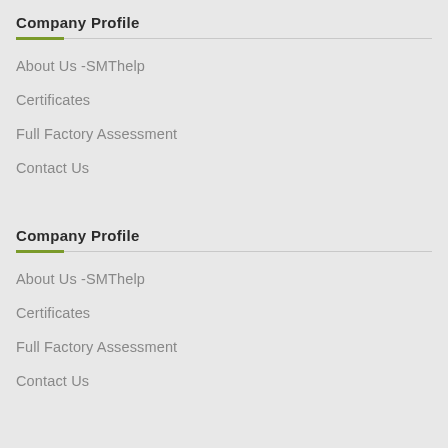Company Profile
About Us -SMThelp
Certificates
Full Factory Assessment
Contact Us
Company Profile
About Us -SMThelp
Certificates
Full Factory Assessment
Contact Us